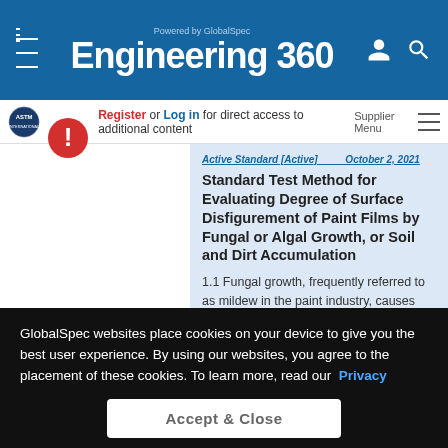Powered by GlobalSpec Engineering 360
Register or Log in for direct access to additional content
ASTM INTERNATIONAL
Supplier Menu
Active Standard [Active] October 2, 2021
Standard Test Method for Evaluating Degree of Surface Disfigurement of Paint Films by Fungal or Algal Growth, or Soil and Dirt Accumulation
1.1 Fungal growth, frequently referred to as mildew in the paint industry, causes defacement of paint film exposed outdoors. The visual rating of paint surface disfigurement
GlobalSpec websites place cookies on your device to give you the best user experience. By using our websites, you agree to the placement of these cookies. To learn more, read our Privacy Policy
Accept & Close